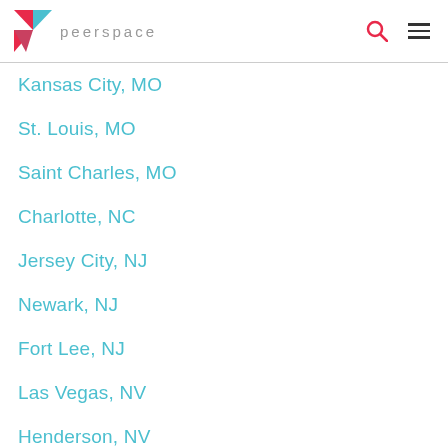peerspace
Kansas City, MO
St. Louis, MO
Saint Charles, MO
Charlotte, NC
Jersey City, NJ
Newark, NJ
Fort Lee, NJ
Las Vegas, NV
Henderson, NV
Rockville Center, NY